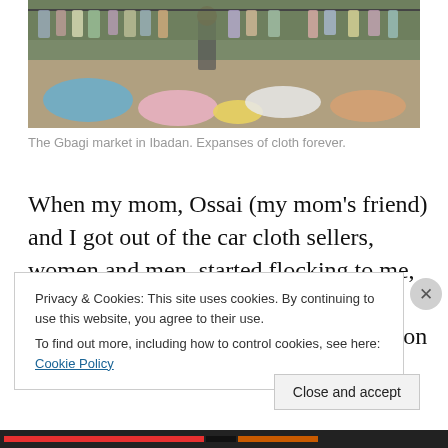[Figure (photo): A market scene showing a woman standing among large piles of colorful folded and loose cloths/fabrics spread on the ground, with racks of clothing visible in the background. The Gbagi market in Ibadan.]
The Gbagi market in Ibadan. Expanses of cloth forever.
When my mom, Ossai (my mom's friend) and I got out of the car cloth sellers, women and men, started flocking to me, grabbing my arms to lead me into their stalls. Once I told my name to one person on the strip of stalls where we
Privacy & Cookies: This site uses cookies. By continuing to use this website, you agree to their use.
To find out more, including how to control cookies, see here: Cookie Policy